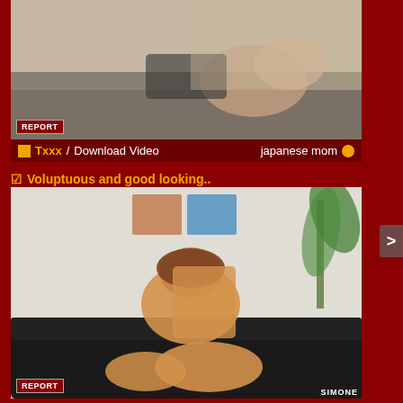[Figure (screenshot): Video thumbnail 1 - close-up scene on a bed/white surface]
REPORT
Txxx / Download Video   japanese mom
✔ Voluptuous and good looking..
[Figure (screenshot): Video thumbnail 2 - woman on a black leather sofa]
REPORT